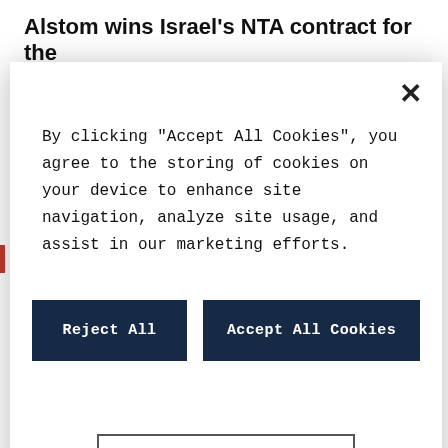Alstom wins Israel's NTA contract for the
[Figure (screenshot): Cookie consent modal dialog with 'Reject All', 'Accept All Cookies', and 'Cookies Settings' buttons on a white background with a close X button in the top right.]
Alstom's responsibility includes the design, engineering, supply, integration, testing and commissioning of the railway system including tracks, electrification, power supply (Hesop, energy saving system), signalling, communication system and the supply of 98 Citadis XO5 trams. Electra will manage the design and construction of the civil works. System